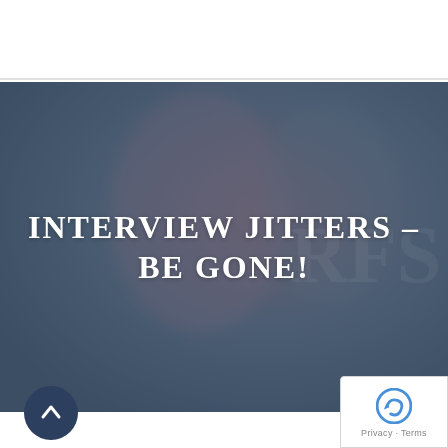[Figure (logo): RFS logo with red swoosh accent under the R, dark navy text]
[Figure (illustration): Hamburger menu icon (three horizontal lines)]
[Figure (photo): Dark blue-gray and mauve toned hero banner image with a blurred person in the background. Text overlay reads INTERVIEW JITTERS – BE GONE!]
INTERVIEW JITTERS – BE GONE!
[Figure (illustration): Dark navy circular scroll-to-top button with upward arrow]
[Figure (logo): Google reCAPTCHA badge with Privacy and Terms links]